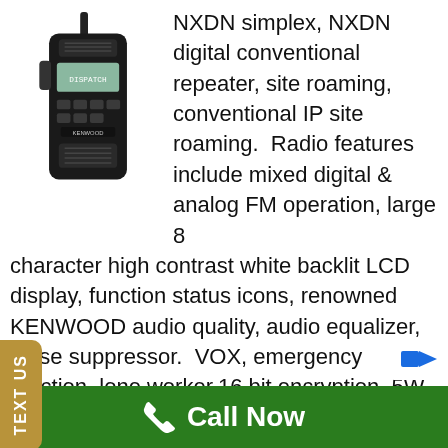[Figure (photo): Kenwood handheld two-way radio (walkie-talkie), black, front view showing LCD display and keypad buttons]
NXDN simplex, NXDN digital conventional repeater, site roaming, conventional IP site roaming.  Radio features include mixed digital & analog FM operation, large 8 character high contrast white backlit LCD display, function status icons, renowned KENWOOD audio quality, audio equalizer, noise suppressor,  VOX, emergency function, lone worker,16 bit encryption, 5W VHF, 5W UHF 250 channels per zone, 128 zones, 260 channels per radio, 1W speaker audio, talk group ID lists,
Call Now